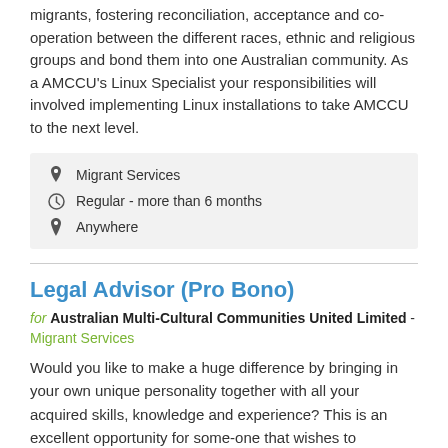AMCCU is supporting the social and economic integration of migrants, fostering reconciliation, acceptance and co-operation between the different races, ethnic and religious groups and bond them into one Australian community. As a AMCCU's Linux Specialist your responsibilities will involved implementing Linux installations to take AMCCU to the next level.
Migrant Services
Regular - more than 6 months
Anywhere
Legal Advisor (Pro Bono)
for Australian Multi-Cultural Communities United Limited - Migrant Services
Would you like to make a huge difference by bringing in your own unique personality together with all your acquired skills, knowledge and experience? This is an excellent opportunity for some-one that wishes to subscribe to a purpose that is bigger than themselves, is willing to support, guide & empower others, likes the flexibility of working remotely, choosing their own hours, and won't mind adding a growing national foundation to their CV.